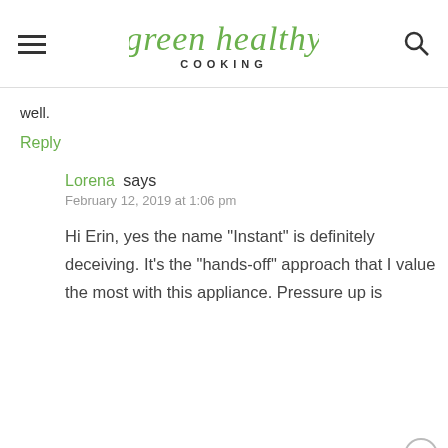green healthy COOKING
well.
Reply
Lorena says
February 12, 2019 at 1:06 pm
Hi Erin, yes the name “Instant” is definitely deceiving. It’s the “hands-off” approach that I value the most with this appliance. Pressure up is
different for everybody and even